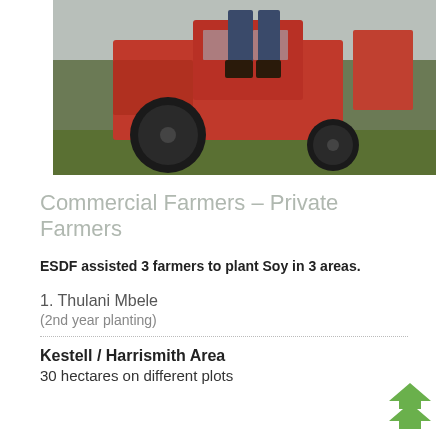[Figure (photo): Photograph of a red tractor on grass, with a person partially visible. The tractor has large black wheels and red body. Green grass is visible in the background.]
Commercial Farmers – Private Farmers
ESDF assisted 3 farmers to plant Soy in 3 areas.
1. Thulani Mbele
(2nd year planting)
Kestell / Harrismith Area
30 hectares on different plots